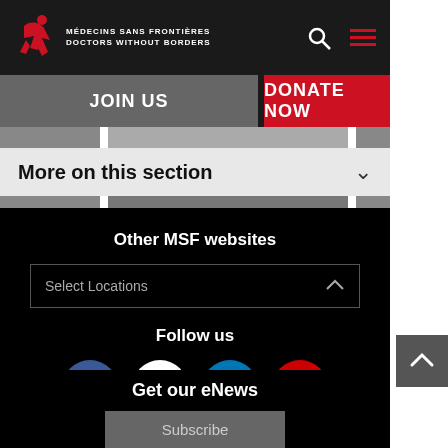[Figure (logo): MSF Médecins Sans Frontières / Doctors Without Borders logo with red running figure icon and white text]
JOIN US
DONATE NOW
More on this section
Other MSF websites
Select Locations
Follow us
[Figure (illustration): Social media icons: Facebook (blue circle with f), Instagram (white circle with camera icon), LinkedIn (blue circle with in), YouTube (red circle with play button)]
Get our eNews
Subscribe